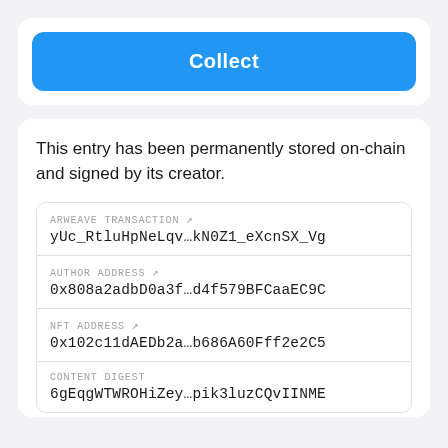Collect
This entry has been permanently stored on-chain and signed by its creator.
| Field | Value |
| --- | --- |
| ARWEAVE TRANSACTION ↗ | yUc_RtluHpNeLqv…kN0Z1_eXcnSX_Vg |
| AUTHOR ADDRESS ↗ | 0x808a2adbD0a3f…d4f579BFCaaEC9C |
| NFT ADDRESS ↗ | 0x102c11dAEDb2a…b686A60Fff2e2C5 |
| CONTENT DIGEST | 6gEqgWTWROHiZey…pik3luzCQvIINME |